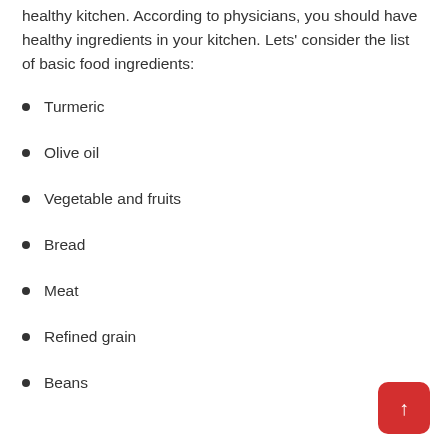healthy kitchen. According to physicians, you should have healthy ingredients in your kitchen. Lets' consider the list of basic food ingredients:
Turmeric
Olive oil
Vegetable and fruits
Bread
Meat
Refined grain
Beans